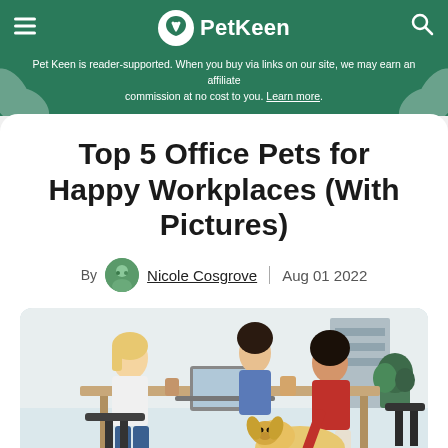Pet Keen
Pet Keen is reader-supported. When you buy via links on our site, we may earn an affiliate commission at no cost to you. Learn more.
Top 5 Office Pets for Happy Workplaces (With Pictures)
By Nicole Cosgrove | Aug 01 2022
[Figure (photo): Office setting with two people at a desk with laptops and coffee cups, and a third person bending down to pet a golden retriever dog on the floor. Plants visible in background.]